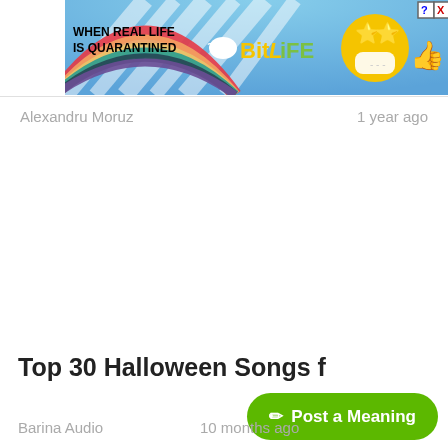[Figure (screenshot): BitLife advertisement banner: rainbow background with sunrays, text 'WHEN REAL LIFE IS QUARANTINED', BitLife logo in yellow/green, masked emoji character, close buttons]
Alexandru Moruz
1 year ago
Top 30 Halloween Songs f
✏ Post a Meaning
Barina Audio
10 months ago